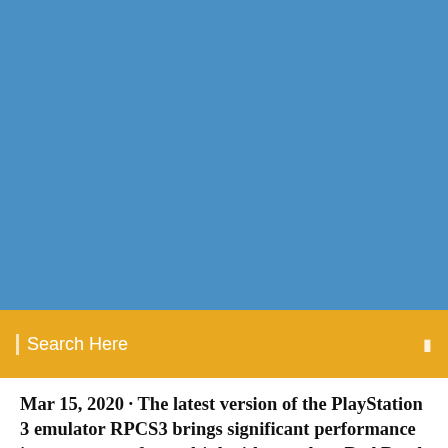[Figure (other): Blue background header area]
Search Here
Mar 15, 2020 · The latest version of the PlayStation 3 emulator RPCS3 brings significant performance improvements for multiple titles, such as Red Dead Redemption and God of War: Ascension.. The development team
RPCS3 is a multi-platform open-source Sony PlayStation 3 emulator and debugger written in C++ for Windows, Linux and BSD.